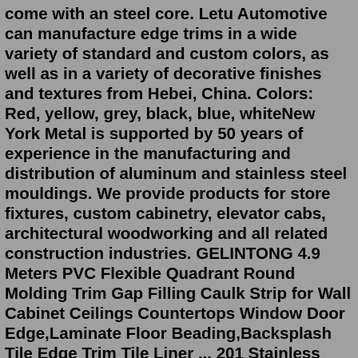come with an steel core. Letu Automotive can manufacture edge trims in a wide variety of standard and custom colors, as well as in a variety of decorative finishes and textures from Hebei, China. Colors: Red, yellow, grey, black, blue, whiteNew York Metal is supported by 50 years of experience in the manufacturing and distribution of aluminum and stainless steel mouldings. We provide products for store fixtures, custom cabinetry, elevator cabs, architectural woodworking and all related construction industries. GELINTONG 4.9 Meters PVC Flexible Quadrant Round Molding Trim Gap Filling Caulk Strip for Wall Cabinet Ceilings Countertops Window Door Edge,Laminate Floor Beading,Backsplash Tile Edge Trim Tile Liner ... 201 Stainless Steel Black Metalized Mirror-Like Finish, Peel and Stick Design, 5m x 2cm ... U-Shape Furniture Edge Banding Self Adhesive TPE ...Flexible plastic U shaped and L shaped trim for edging cabinets and shelves, made from PVC. 1/2" Black PVC U-Trim. Average rating: This flexible u-trim